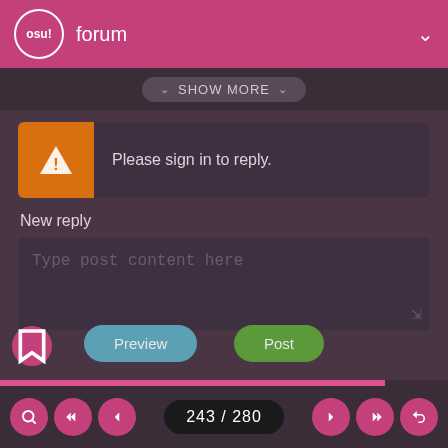osu! forum
SHOW MORE
Please sign in to reply.
New reply
Type post content here
Preview
Post
243 / 280